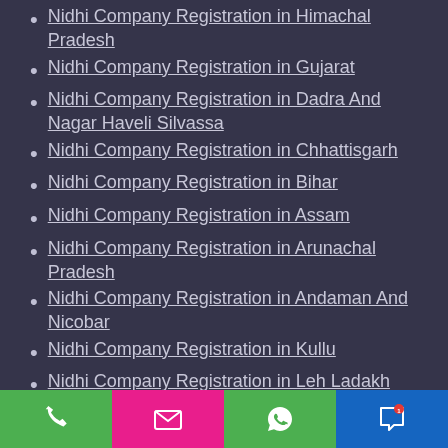Nidhi Company Registration in Himachal Pradesh
Nidhi Company Registration in Gujarat
Nidhi Company Registration in Dadra And Nagar Haveli Silvassa
Nidhi Company Registration in Chhattisgarh
Nidhi Company Registration in Bihar
Nidhi Company Registration in Assam
Nidhi Company Registration in Arunachal Pradesh
Nidhi Company Registration in Andaman And Nicobar
Nidhi Company Registration in Kullu
Nidhi Company Registration in Leh Ladakh
Nidhi Company Registration in Srinagar
Nidhi Company Registration in Pune
Nidhi Company Registration in Thane